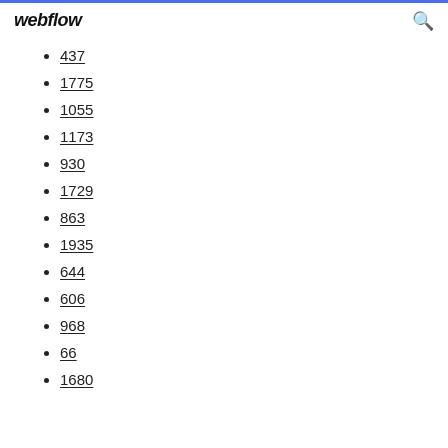webflow
437
1775
1055
1173
930
1729
863
1935
644
606
968
66
1680